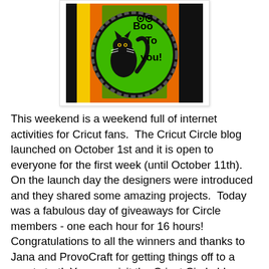[Figure (photo): Halloween craft card with black cat on green circular badge reading 'Boo To You!', set against black coffin-shaped background with orange and yellow felt/paper layers]
This weekend is a weekend full of internet activities for Cricut fans.  The Cricut Circle blog launched on October 1st and it is open to everyone for the first week (until October 11th).  On the launch day the designers were introduced and they shared some amazing projects.  Today was a fabulous day of giveaways for Circle members - one each hour for 16 hours!  Congratulations to all the winners and thanks to Jana and ProvoCraft for getting things off to a great start!  You can visit the Cricut Circle blog HERE
Christina (Creations with Christina) held an all day celebration for Word Card Making Day ably assisted by Teri (TeriBeri's Creations).  If you go to THIS POST on